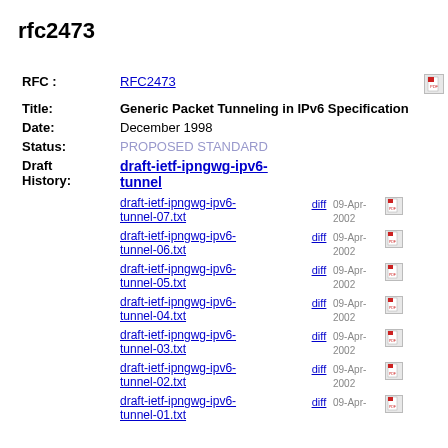rfc2473
| Field | Value |
| --- | --- |
| RFC : | RFC2473 |
| Title: | Generic Packet Tunneling in IPv6 Specification |
| Date: | December 1998 |
| Status: | PROPOSED STANDARD |
| Draft History: | draft-ietf-ipngwg-ipv6-tunnel |
|  | draft-ietf-ipngwg-ipv6-tunnel-07.txt  diff  09-Apr-2002 |
|  | draft-ietf-ipngwg-ipv6-tunnel-06.txt  diff  09-Apr-2002 |
|  | draft-ietf-ipngwg-ipv6-tunnel-05.txt  diff  09-Apr-2002 |
|  | draft-ietf-ipngwg-ipv6-tunnel-04.txt  diff  09-Apr-2002 |
|  | draft-ietf-ipngwg-ipv6-tunnel-03.txt  diff  09-Apr-2002 |
|  | draft-ietf-ipngwg-ipv6-tunnel-02.txt  diff  09-Apr-2002 |
|  | draft-ietf-ipngwg-ipv6-tunnel-01.txt  diff  09-Apr- |